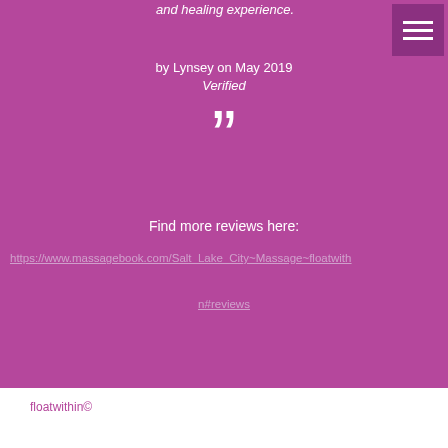and healing experience.
by Lynsey on May 2019
Verified
[Figure (other): Large closing quotation mark decorative element in white on purple background]
Find more reviews here:
https://www.massagebook.com/Salt_Lake_City~Massage~floatwithin#reviews
floatwithin©